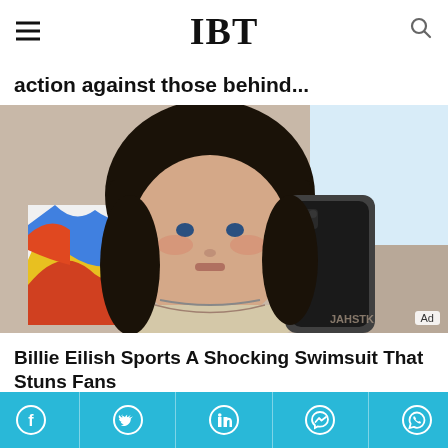IBT
action against those behind...
[Figure (photo): Young woman with dark hair taking a mirror selfie with iPhone, colorful artwork visible in background. Ad badge visible in bottom right corner.]
Billie Eilish Sports A Shocking Swimsuit That Stuns Fans
TRAITSLAB
Social sharing bar with Facebook, Twitter, LinkedIn, Messenger, WhatsApp icons